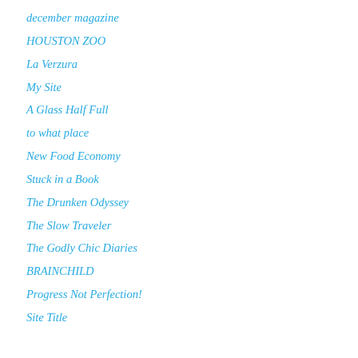december magazine
HOUSTON ZOO
La Verzura
My Site
A Glass Half Full
to what place
New Food Economy
Stuck in a Book
The Drunken Odyssey
The Slow Traveler
The Godly Chic Diaries
BRAINCHILD
Progress Not Perfection!
Site Title